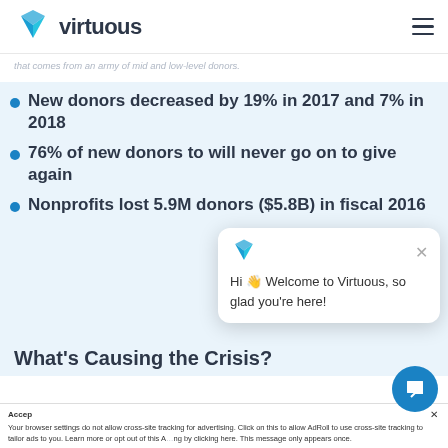virtuous
that comes from an army of mid and low-level donors.
New donors decreased by 19% in 2017 and 7% in 2018
76% of new donors to will never go on to give again
Nonprofits lost 5.9M donors ($5.8B) in fiscal 2016
What's Causing the Crisis?
Hi 👋 Welcome to Virtuous, so glad you're here!
Your browser settings do not allow cross-site tracking for advertising. Click on this to allow AdRoll to use cross-site tracking to tailor ads to you. Learn more or opt out of this AdRoll tracking by clicking here. This message only appears once.